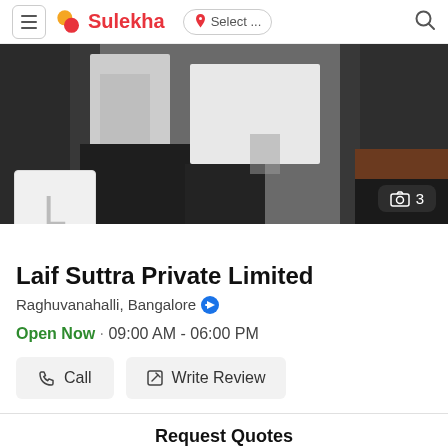Sulekha — Select ... [location] [search]
[Figure (photo): Hero photo of an office/showroom interior with furniture, mirrors, and curtains. A company logo badge with letter L is overlaid at the bottom left, and a camera icon with number 3 appears at the bottom right.]
Laif Suttra Private Limited
Raghuvanahalli, Bangalore
Open Now · 09:00 AM - 06:00 PM
Call   Write Review
Request Quotes